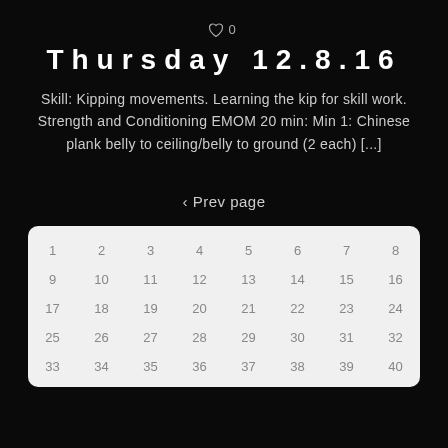[Figure (other): Heart icon outline with count '0' beside it]
Thursday 12.8.16
Skill: Kipping movements. Learning the kip for skill work. Strength and Conditioning EMOM 20 min: Min 1: Chinese plank belly to ceiling/belly to ground (2 each) [...]
‹ Prev page
| 1 | 2 | 3 | 4 | 5 | 6 | 7 | 8 |
| 9 | 10 | 11 | 12 | 13 | 14 | 15 | 16 |
| 17 | 18 | 19 | 20 | 21 | 22 | 23 | 24 |
| 25 | 26 | 27 | 28 | 29 | 30 | 31 | 32 |
| 33 | 34 | 35 | 36 | 37 | 38 | 39 | 40 |